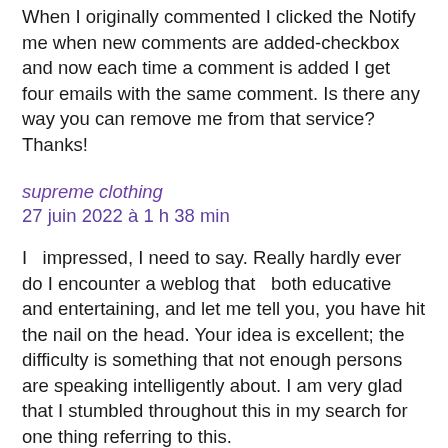When I originally commented I clicked the Notify me when new comments are added-checkbox and now each time a comment is added I get four emails with the same comment. Is there any way you can remove me from that service? Thanks!
supreme clothing
27 juin 2022 à 1 h 38 min
I  impressed, I need to say. Really hardly ever do I encounter a weblog that   both educative and entertaining, and let me tell you, you have hit the nail on the head. Your idea is excellent; the difficulty is something that not enough persons are speaking intelligently about. I am very glad that I stumbled throughout this in my search for one thing referring to this.